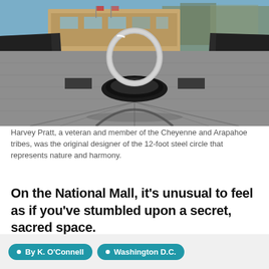[Figure (photo): Outdoor memorial plaza with a large 12-foot circular steel ring sculpture in the center, a dark stone fountain base, granite paving, tall dark stone walls on the sides, and a tan/beige building with trees visible in the background under a blue sky.]
Harvey Pratt, a veteran and member of the Cheyenne and Arapahoe tribes, was the original designer of the 12-foot steel circle that represents nature and harmony.
On the National Mall, it's unusual to feel as if you've stumbled upon a secret, sacred space.
Continue reading →
• By K. O'Connell   • Washington D.C.